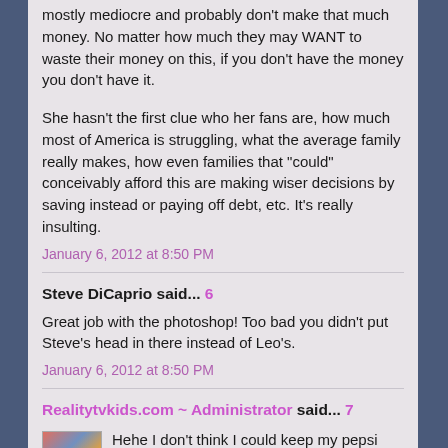mostly mediocre and probably don't make that much money. No matter how much they may WANT to waste their money on this, if you don't have the money you don't have it.
She hasn't the first clue who her fans are, how much most of America is struggling, what the average family really makes, how even families that "could" conceivably afford this are making wiser decisions by saving instead or paying off debt, etc. It's really insulting.
January 6, 2012 at 8:50 PM
Steve DiCaprio said... 6
Great job with the photoshop! Too bad you didn't put Steve's head in there instead of Leo's.
January 6, 2012 at 8:50 PM
Realitytvkids.com ~ Administrator said... 7
Hehe I don't think I could keep my pepsi from going through my nose I tried to sit here and crop Steves head in t...